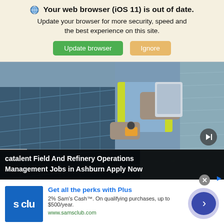Your web browser (iOS 11) is out of date. Update your browser for more security, speed and the best experience on this site.
[Figure (screenshot): Browser update banner with Update browser (green) and Ignore (tan) buttons]
[Figure (photo): Worker in hi-vis vest inspecting solar panels with tablet]
catalent Field And Refinery Operations Management Jobs in Ashburn Apply Now
[Figure (screenshot): Sam's Club Plus advertisement with logo, headline, body text, and CTA button]